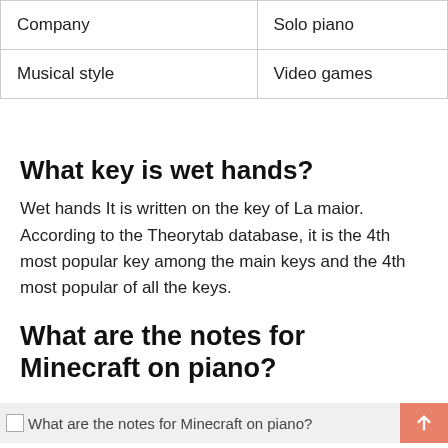| Company | Solo piano |
| Musical style | Video games |
What key is wet hands?
Wet hands It is written on the key of La maior. According to the Theorytab database, it is the 4th most popular key among the main keys and the 4th most popular of all the keys.
What are the notes for Minecraft on piano?
[Figure (photo): Broken image placeholder with alt text: What are the notes for Minecraft on piano?]